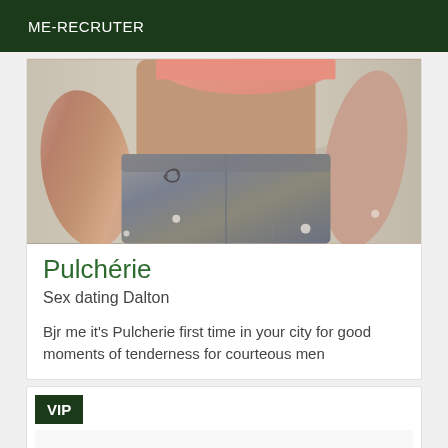ME-RECRUTER
[Figure (photo): Close-up photo of a person's torso wearing denim shorts and a pink hat, with a tattoo visible on the hip, outdoor sandy background]
Pulchérie
Sex dating Dalton
Bjr me it's Pulcherie first time in your city for good moments of tenderness for courteous men
[Figure (other): VIP card section with VIP badge label and empty white content area]